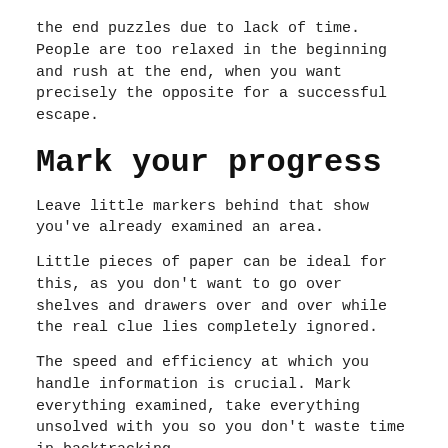the end puzzles due to lack of time. People are too relaxed in the beginning and rush at the end, when you want precisely the opposite for a successful escape.
Mark your progress
Leave little markers behind that show you've already examined an area.
Little pieces of paper can be ideal for this, as you don't want to go over shelves and drawers over and over while the real clue lies completely ignored.
The speed and efficiency at which you handle information is crucial. Mark everything examined, take everything unsolved with you so you don't waste time in backtracking.
Lots of clues picked up in the early phases become important in the middle and end puzzles.